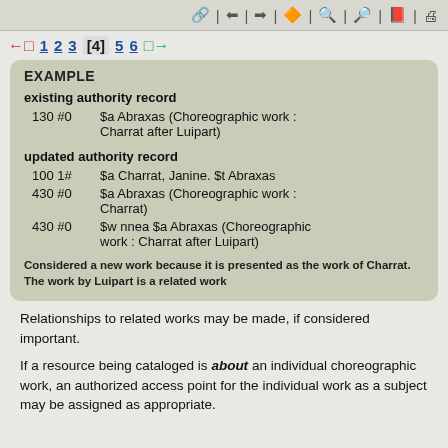toolbar navigation icons
1 2 3 [4] 5 6
EXAMPLE
existing authority record
130 #0   $a Abraxas (Choreographic work : Charrat after Luipart)
updated authority record
100 1#   $a Charrat, Janine. $t Abraxas
430 #0   $a Abraxas (Choreographic work : Charrat)
430 #0   $w nnea $a Abraxas (Choreographic work : Charrat after Luipart)
Considered a new work because it is presented as the work of Charrat. The work by Luipart is a related work
Relationships to related works may be made, if considered important.
If a resource being cataloged is about an individual choreographic work, an authorized access point for the individual work as a subject may be assigned as appropriate.